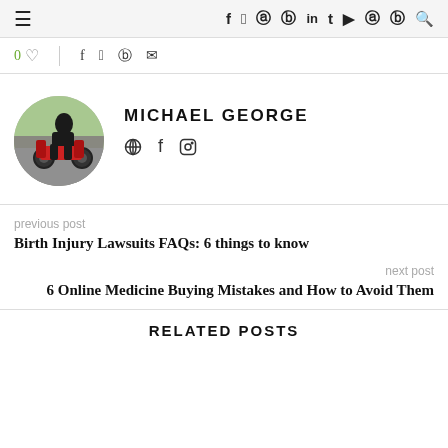≡  f  𝕥  ⊙  ⊕  in  t  ▶  ⌥  ⓡ  🔍
0 ♡  |  f  𝕥  ⊕  ✉
[Figure (photo): Circular avatar photo of Michael George sitting on a motorcycle]
MICHAEL GEORGE
🌐  f  ⊙
previous post
Birth Injury Lawsuits FAQs: 6 things to know
next post
6 Online Medicine Buying Mistakes and How to Avoid Them
RELATED POSTS